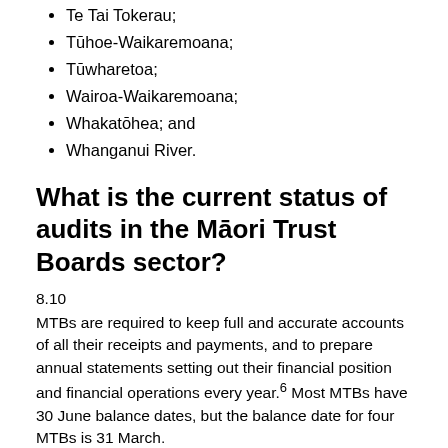Te Tai Tokerau;
Tūhoe-Waikaremoana;
Tūwharetoa;
Wairoa-Waikaremoana;
Whakatōhea; and
Whanganui River.
What is the current status of audits in the Māori Trust Boards sector?
8.10
MTBs are required to keep full and accurate accounts of all their receipts and payments, and to prepare annual statements setting out their financial position and financial operations every year.6 Most MTBs have 30 June balance dates, but the balance date for four MTBs is 31 March.
8.11
The financial statements of MTBs are audited by the